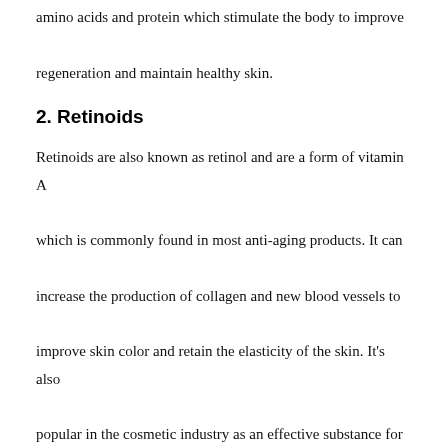amino acids and protein which stimulate the body to improve regeneration and maintain healthy skin.
2. Retinoids
Retinoids are also known as retinol and are a form of vitamin A which is commonly found in most anti-aging products. It can increase the production of collagen and new blood vessels to improve skin color and retain the elasticity of the skin. It's also popular in the cosmetic industry as an effective substance for clearing age spots, evening out skin tone, and diminishing acne marks.
3. Peptide
Similar to collagen, peptides are groups of amino acids that already